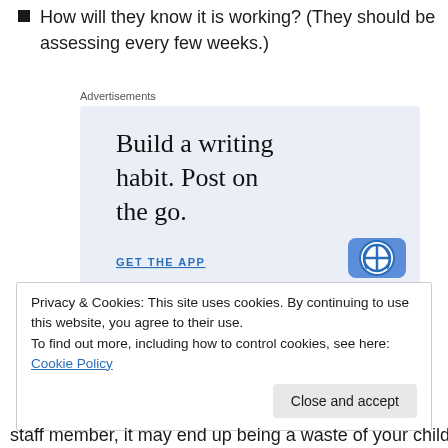How will they know it is working?  (They should be assessing every few weeks.)
[Figure (other): Advertisement banner with text 'Build a writing habit. Post on the go.' and a 'GET THE APP' call to action with WordPress logo]
Privacy & Cookies: This site uses cookies. By continuing to use this website, you agree to their use.
To find out more, including how to control cookies, see here: Cookie Policy
staff member, it may end up being a waste of your child's